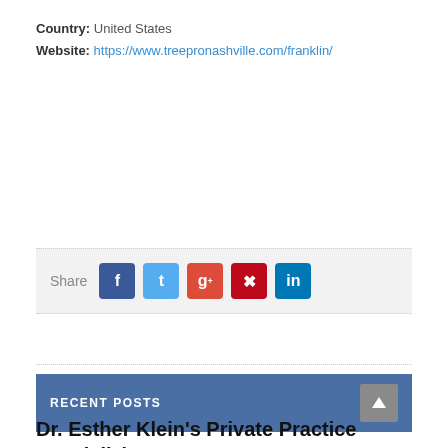Country: United States
Website: https://www.treepronashville.com/franklin/
Share
RECENT POSTS
Dr. Esther Klein's Private Practice Specializing